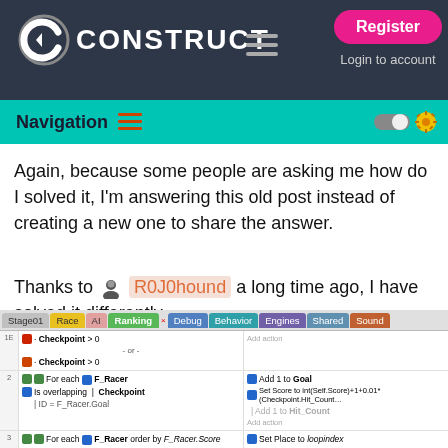CONSTRUCT — Register | Login to account
Navigation
Again, because some people are asking me how do I solved it, I'm answering this old post instead of creating a new one to share the answer.
Thanks to R0J0hound a long time ago, I have solved it differently.
[Figure (screenshot): Construct 2/3 event sheet screenshot showing event rows: row 1E has Checkpoint > 0 conditions, row 2 has For each F_Racer, Is overlapping Checkpoint, ID = F_Racer.Goal with actions Add 1 to Goal, Set Score, Add 1 to Hit_Count, row 3 has For each F_Racer order by F_Racer.Score descending with Set Place to loopindex action, row 4 has For each Ranking with Set animation frame to F_Racer.AnimationFrame action. Tab bar shows Stage01, Race, AI, Ranking (active), Debug, Behavior, Engines, Shared, Sound tabs.]